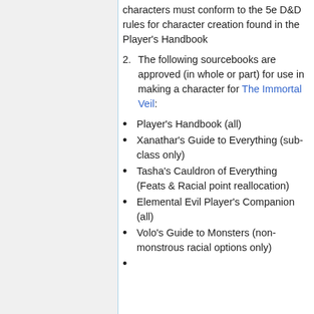characters must conform to the 5e D&D rules for character creation found in the Player's Handbook
2. The following sourcebooks are approved (in whole or part) for use in making a character for The Immortal Veil:
Player's Handbook (all)
Xanathar's Guide to Everything (sub-class only)
Tasha's Cauldron of Everything (Feats & Racial point reallocation)
Elemental Evil Player's Companion (all)
Volo's Guide to Monsters (non-monstrous racial options only)